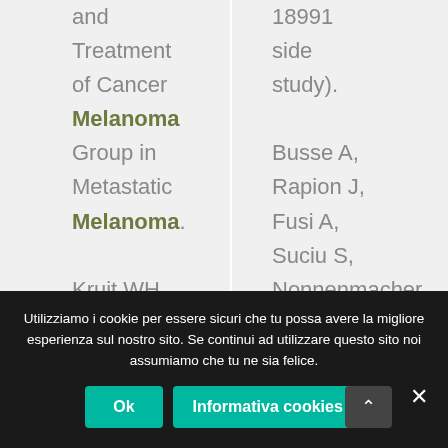and Treatment of Cancer Melanoma Group in Metastatic Melanoma.

Kruit WH, Suciu S, Dreno B,
18991 side study).

Busse A, Rapion J, Fusi A, Suciu S, Nonnenmacher A, Santinami
Utilizziamo i cookie per essere sicuri che tu possa avere la migliore esperienza sul nostro sito. Se continui ad utilizzare questo sito noi assumiamo che tu ne sia felice.